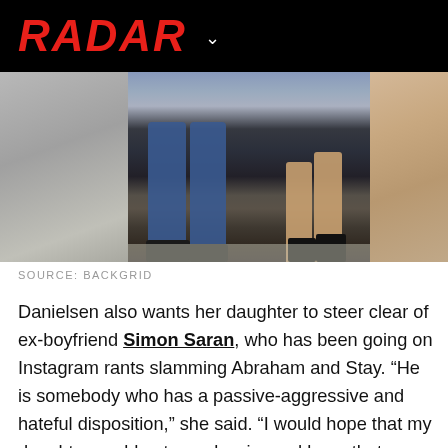RADAR
[Figure (photo): Cropped photo showing lower bodies of two people walking: a man in jeans and dark shoes on the left, a woman in heels on the right. Blurred panels on far left and right edges.]
SOURCE: BACKGRID
Danielsen also wants her daughter to steer clear of ex-boyfriend Simon Saran, who has been going on Instagram rants slamming Abraham and Stay. “He is somebody who has a passive-aggressive and hateful disposition,” she said. “I would hope that my daughter could put up a barrier and keep that negativity away from her and my granddaughter.”